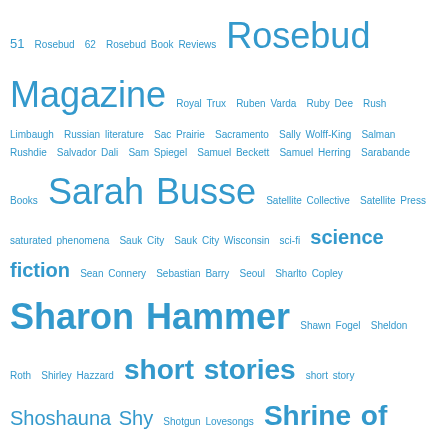51 Rosebud 62 Rosebud Book Reviews Rosebud Magazine Royal Trux Ruben Varda Ruby Dee Rush Limbaugh Russian literature Sac Prairie Sacramento Sally Wolff-King Salman Rushdie Salvador Dali Sam Spiegel Samuel Beckett Samuel Herring Sarabande Books Sarah Busse Satellite Collective Satellite Press saturated phenomena Sauk City Sauk City Wisconsin sci-fi science fiction Sean Connery Sebastian Barry Seoul Sharlto Copley Sharon Hammer Shawn Fogel Sheldon Roth Shirley Hazzard short stories short story Shoshauna Shy Shotgun Lovesongs Shrine of the Tooth Fairy siege of Leningrad Sietske van der Veen Signs and Wonders Simone Simon Simon Knight Singapore Six Gallery Press Slumdog Millionaire Sly in the Morning Somewhere Piano Sonic Youth Soviet Communism Spencer Walts Spiro Agnew Split Personality Spokane Prize for Short Fiction Spoke Spring Green Spring Green Wisconsin St. Martin's Press Stefan Szczuka Stephanie Bedford Stephen Greenblatt Stephen Hinkle Stephen King Steve Erickson Steve Miller Band Steven Moore Steven Salmon Steve Shelley Stranger in the Window suitcase nuclear reactor Summer of the Cinetherapist sunnyoutside Supermoon Susan Firer suspended animation Sustainable Living Sven Birkerts Swan Scythe Press SXSW T. S. Eliot Tai Tzu-chia Tara Ison cite Tara la bamba Tori Price (1979) Tabitha roo Tell